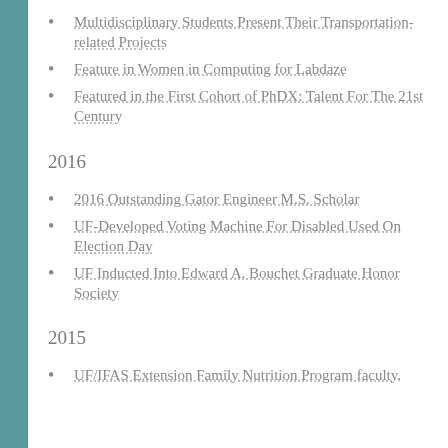Multidisciplinary Students Present Their Transportation-related Projects
Feature in Women in Computing for Labdaze
Featured in the First Cohort of PhDX: Talent For The 21st Century
2016
2016 Outstanding Gator Engineer M.S. Scholar
UF-Developed Voting Machine For Disabled Used On Election Day
UF Inducted Into Edward A. Bouchet Graduate Honor Society
2015
UF/IFAS Extension Family Nutrition Program faculty,